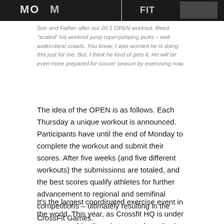[Figure (photo): Dark photo strip showing son and father after a CrossFit OPEN workout, partially visible at top of page]
Son and Father after our 20.1 OPEN workout. Reed "scaled" his workout jump rope>jumping jacks – wall walks>bear crawls. You know, I was worried he is doing this just for me. But, I think he kind of gets it. He will be even more prepared for soccer season by exercising now.
The idea of the OPEN is as follows. Each Thursday a unique workout is announced. Participants have until the end of Monday to complete the workout and submit their scores. After five weeks (and five different workouts) the submissions are totaled, and the best scores qualify athletes for further advancement to regional and semifinal competitions – ultimately resulting in the CrossFit Games.
It's the largest coordinated exercise event in the world. This year, as Crossfit HQ is under new ownership, there is targeted emphasis to bring the event to the broadest